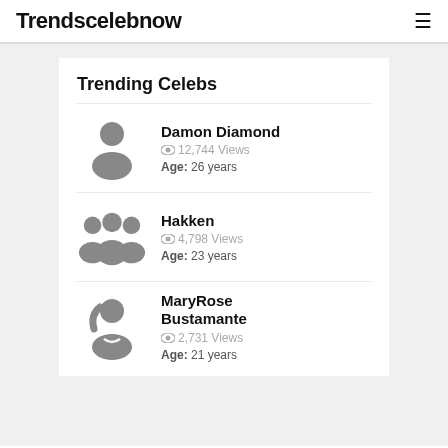Trendscelebnow
Trending Celebs
Damon Diamond | 12,744 Views | Age: 26 years
Hakken | 4,798 Views | Age: 23 years
MaryRose Bustamante | 2,731 Views | Age: 21 years